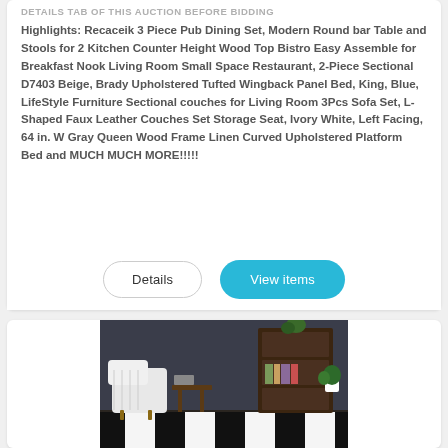DETAILS TAB OF THIS AUCTION BEFORE BIDDING
Highlights: Recaceik 3 Piece Pub Dining Set, Modern Round bar Table and Stools for 2 Kitchen Counter Height Wood Top Bistro Easy Assemble for Breakfast Nook Living Room Small Space Restaurant, 2-Piece Sectional D7403 Beige, Brady Upholstered Tufted Wingback Panel Bed, King, Blue, LifeStyle Furniture Sectional couches for Living Room 3Pcs Sofa Set, L-Shaped Faux Leather Couches Set Storage Seat, Ivory White, Left Facing, 64 in. W Gray Queen Wood Frame Linen Curved Upholstered Platform Bed and MUCH MUCH MORE!!!!!
[Figure (photo): Photo of a living room scene showing a black and white striped rug, a white chair, a dark wooden bookshelf with plants and books, against a dark wall background.]